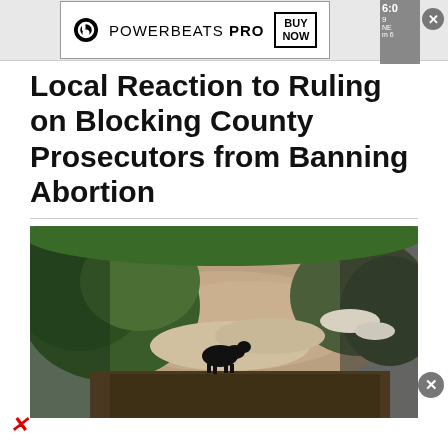[Figure (screenshot): Advertisement banner: Beats PowerBeats Pro with Buy Now button and news channel bug]
Local Reaction to Ruling on Blocking County Prosecutors from Banning Abortion
[Figure (photo): Outdoor scene showing a black animal (dog or bear) near muddy floodwaters and vegetation, viewed from above. Image edges are blurred/vignette.]